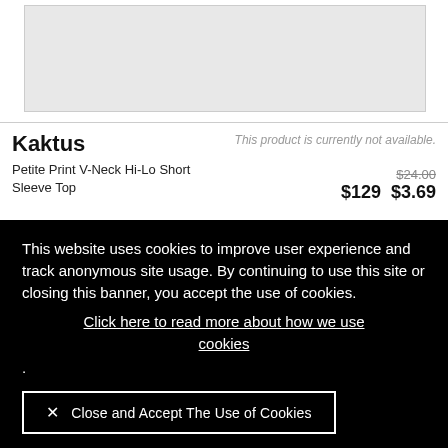[Figure (photo): Product image placeholder, light gray rectangle]
Kaktus
Petite Print V-Neck Hi-Lo Short Sleeve Top
This product is currently not available.
$24.00  $129  $3.69
This website uses cookies to improve user experience and track anonymous site usage. By continuing to use this site or closing this banner, you accept the use of cookies. Click here to read more about how we use cookies .
✕ Close and Accept The Use of Cookies